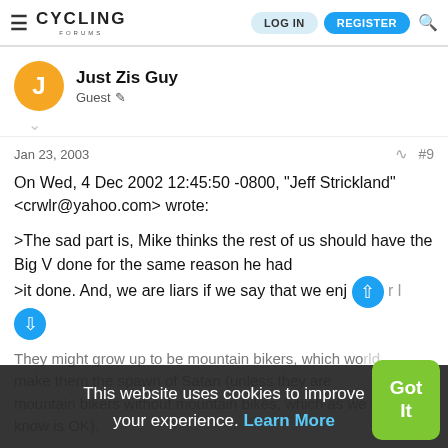Cycling Forums — LOG IN | REGISTER
Just Zis Guy
Guest
Jan 23, 2003  #9
On Wed, 4 Dec 2002 12:45:50 -0800, "Jeff Strickland" <crwlr@yahoo.com> wrote:

>The sad part is, Mike thinks the rest of us should have the Big V done for the same reason he had
>it done. And, we are liars if we say that we enj...
They might grow up to be mountain bikers, which would make them the spawn of Satan (unless they are mountain bikers without mountain bikes, which as we all know is OK).
This website uses cookies to improve your experience. Learn More